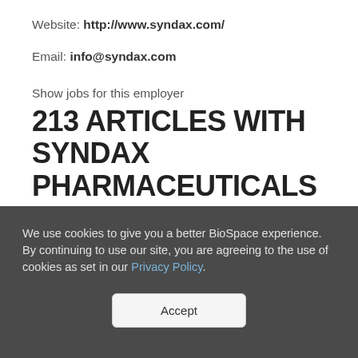Website: http://www.syndax.com/
Email: info@syndax.com
Show jobs for this employer
213 ARTICLES WITH SYNDAX PHARMACEUTICALS INC.
Syndax Announces First Patient Dosed in Phase 1/2 AUGMENT-101 Trial of SNDX-5613 for the Treatment of Adults with
We use cookies to give you a better BioSpace experience. By continuing to use our site, you are agreeing to the use of cookies as set in our Privacy Policy.
Accept